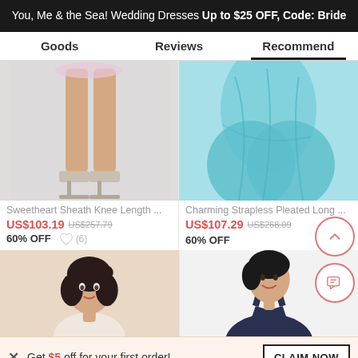You, Me & the Sea! Wedding Dresses Up to $25 OFF, Code: Bride
Goods | Reviews | Recommend
[Figure (photo): Lower half of a woman wearing a light pink/lavender dress and silver heeled sandals, on a light gray background]
Sweetheart Sheath Knee Length ...
US$103.19  US$257.79
60% OFF
[Figure (photo): Lower half of a woman wearing a floor-length teal/turquoise pleated dress on white background]
Charming Strapless Pleated Long ...
US$107.29  US$268.09
60% OFF
[Figure (photo): Upper body of a dark-haired woman on a beige/cream background]
[Figure (photo): Upper body of a woman wearing a navy halter dress, smiling]
Get $5 off for your first order!
CLAIM NOW
ADD TO BAG